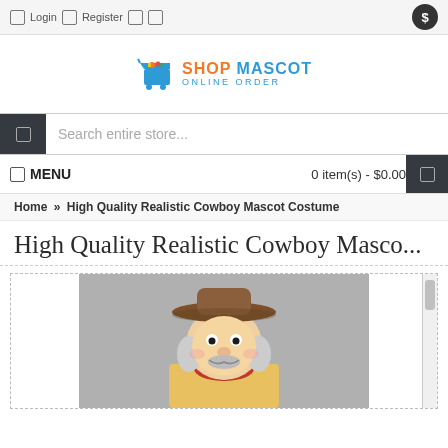Login  Register
[Figure (logo): Shop Mascot Online Order logo with a blue shopping cart and colorful items]
Search entire store...
MENU  0 item(s) - $0.00
Home » High Quality Realistic Cowboy Mascot Costume
High Quality Realistic Cowboy Masco...
[Figure (photo): Photo of a cowboy mascot costume head/doll with a brown cowboy hat, gray mustache, and red bandana]